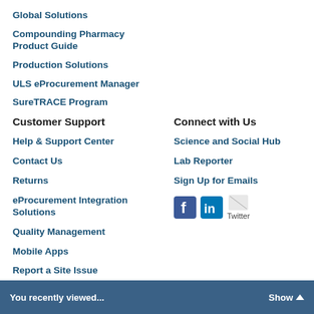Global Solutions
Compounding Pharmacy Product Guide
Production Solutions
ULS eProcurement Manager
SureTRACE Program
Customer Support
Connect with Us
Help & Support Center
Science and Social Hub
Contact Us
Lab Reporter
Returns
Sign Up for Emails
eProcurement Integration Solutions
[Figure (logo): Facebook, LinkedIn, and Twitter social media icons]
Quality Management
Mobile Apps
Report a Site Issue
You recently viewed... Show